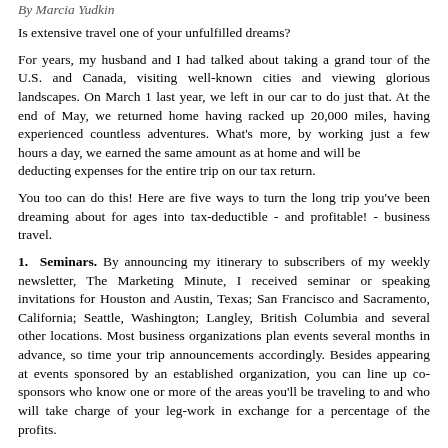By Marcia Yudkin
Is extensive travel one of your unfulfilled dreams?
For years, my husband and I had talked about taking a grand tour of the U.S. and Canada, visiting well-known cities and viewing glorious landscapes. On March 1 last year, we left in our car to do just that. At the end of May, we returned home having racked up 20,000 miles, having experienced countless adventures. What's more, by working just a few hours a day, we earned the same amount as at home and will be
deducting expenses for the entire trip on our tax return.
You too can do this! Here are five ways to turn the long trip you've been dreaming about for ages into tax-deductible - and profitable! - business travel.
1. Seminars. By announcing my itinerary to subscribers of my weekly newsletter, The Marketing Minute, I received seminar or speaking invitations for Houston and Austin, Texas; San Francisco and Sacramento, California; Seattle, Washington; Langley, British Columbia and several other locations. Most business organizations plan events several months in advance, so time your trip announcements accordingly. Besides appearing at events sponsored by an established organization, you can line up co-sponsors who know one or more of the areas you'll be traveling to and who will take charge of your leg-work in exchange for a percentage of the profits.
2. Client meetings. People I had been working with remotely were thrilled at the opportunity to get together in person when I would be passing through their area. Some of these meetings turned into